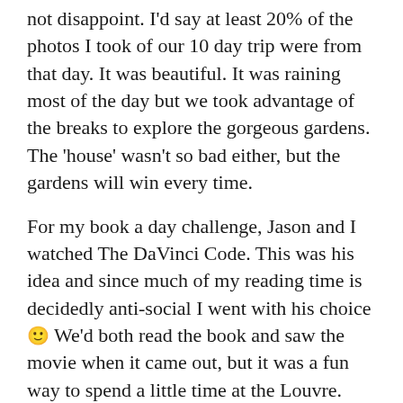not disappoint. I'd say at least 20% of the photos I took of our 10 day trip were from that day. It was beautiful. It was raining most of the day but we took advantage of the breaks to explore the gorgeous gardens. The 'house' wasn't so bad either, but the gardens will win every time.
For my book a day challenge, Jason and I watched The DaVinci Code. This was his idea and since much of my reading time is decidedly anti-social I went with his choice 🙂 We'd both read the book and saw the movie when it came out, but it was a fun way to spend a little time at the Louvre.
Have you been to Versailles?
[Figure (photo): Partial image of a light blue sky or water, cropped at the bottom of the page.]